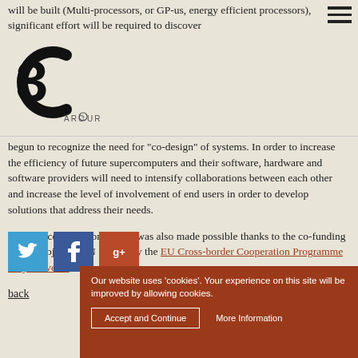will be built (Multi-processors, or GP-us, energy efficient processors), significant effort will be required to discover
[Figure (logo): 3C ARCTUR logo — stylized '3C' letters with ARCTUR text beneath]
begun to recognize the need for "co-design" of systems. In order to increase the efficiency of future supercomputers and their software, hardware and software providers will need to intensify collaborations between each other and increase the level of involvement of end users in order to develop solutions that address their needs.
Attendance to the conference was also made possible thanks to the co-funding by the project iCON funded by the EU Cross-border Cooperation Programme Italy-Slovenia.
Our website uses 'cookies'. Your experience on this site will be improved by allowing cookies.
back